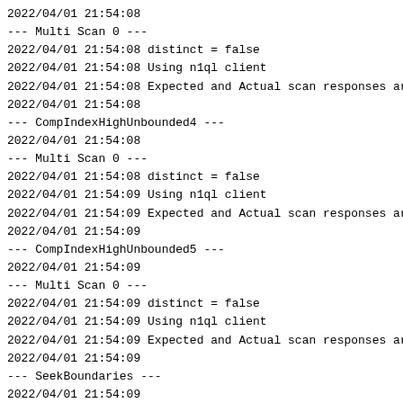2022/04/01 21:54:08
--- Multi Scan 0 ---
2022/04/01 21:54:08 distinct = false
2022/04/01 21:54:08 Using n1ql client
2022/04/01 21:54:08 Expected and Actual scan responses ar
2022/04/01 21:54:08
--- CompIndexHighUnbounded4 ---
2022/04/01 21:54:08
--- Multi Scan 0 ---
2022/04/01 21:54:08 distinct = false
2022/04/01 21:54:09 Using n1ql client
2022/04/01 21:54:09 Expected and Actual scan responses ar
2022/04/01 21:54:09
--- CompIndexHighUnbounded5 ---
2022/04/01 21:54:09
--- Multi Scan 0 ---
2022/04/01 21:54:09 distinct = false
2022/04/01 21:54:09 Using n1ql client
2022/04/01 21:54:09 Expected and Actual scan responses ar
2022/04/01 21:54:09
--- SeekBoundaries ---
2022/04/01 21:54:09
--- Multi Scan 0 ---
2022/04/01 21:54:09 distinct = false
2022/04/01 21:54:10 Using n1ql client
2022/04/01 21:54:10 Expected and Actual scan responses ar
2022/04/01 21:54:10
--- Multi Scan 1 ---
2022/04/01 21:54:10 distinct = false
2022/04/01 21:54:10 Using n1ql client